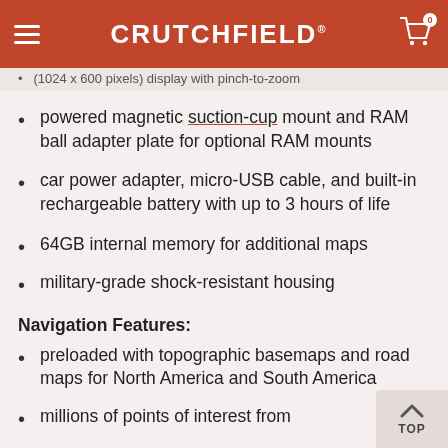CRUTCHFIELD
(1024 x 600 pixels) display with pinch-to-zoom [partially visible at top]
powered magnetic suction-cup mount and RAM ball adapter plate for optional RAM mounts
car power adapter, micro-USB cable, and built-in rechargeable battery with up to 3 hours of life
64GB internal memory for additional maps
military-grade shock-resistant housing
Navigation Features:
preloaded with topographic basemaps and road maps for North America and South America
millions of points of interest from